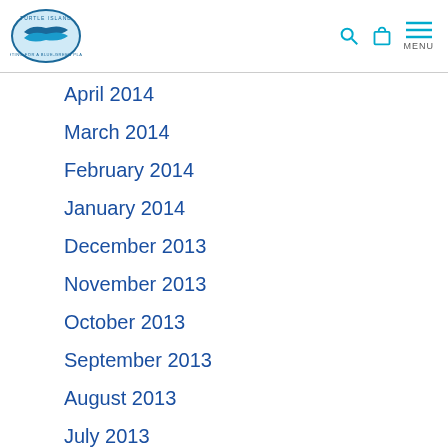Turtle Island Restoration Network — Navigation header with logo, search, bag, and menu icons
April 2014
March 2014
February 2014
January 2014
December 2013
November 2013
October 2013
September 2013
August 2013
July 2013
June 2013